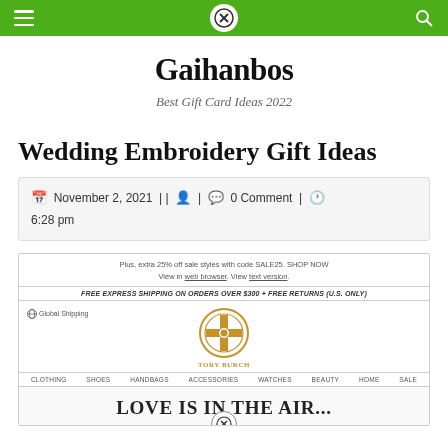Gaihanbos navigation bar with close button
Gaihanbos
Best Gift Card Ideas 2022
Wedding Embroidery Gift Ideas
November 2, 2021 | | | 0 Comment | 6:28 pm
[Figure (screenshot): Tory Burch website screenshot showing promotional text 'Plus, extra 25% off sale styles with code SALE25. SHOP NOW', 'FREE EXPRESS SHIPPING ON ORDERS OVER $300 + FREE RETURNS (U.S. ONLY)', Tory Burch logo, Global Shipping link, navigation bar with CLOTHING, SHOES, HANDBAGS, ACCESSORIES, WATCHES, BEAUTY, HOME, SALE, and a banner reading 'LOVE IS IN THE AIR...']